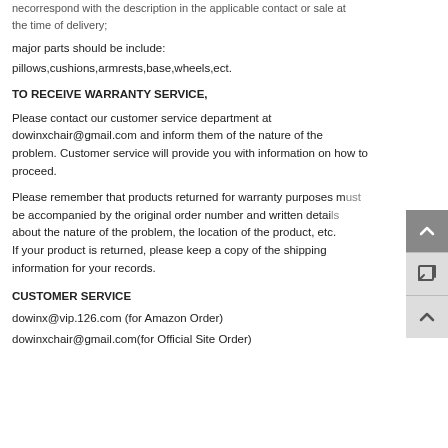correspond with the description in the applicable contact or sale at the time of delivery;
major parts should be include:
pillows,cushions,armrests,base,wheels,ect.
TO RECEIVE WARRANTY SERVICE,
Please contact our customer service department at dowinxchair@gmail.com and inform them of the nature of the problem. Customer service will provide you with information on how to proceed.
Please remember that products returned for warranty purposes must be accompanied by the original order number and written details about the nature of the problem, the location of the product, etc. If your product is returned, please keep a copy of the shipping information for your records.
CUSTOMER SERVICE
dowinx@vip.126.com (for Amazon Order)
dowinxchair@gmail.com(for Official Site Order)